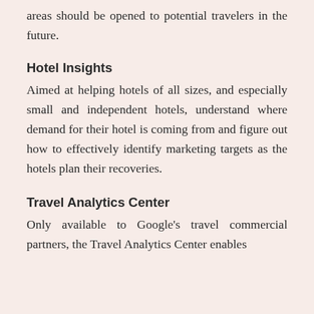areas should be opened to potential travelers in the future.
Hotel Insights
Aimed at helping hotels of all sizes, and especially small and independent hotels, understand where demand for their hotel is coming from and figure out how to effectively identify marketing targets as the hotels plan their recoveries.
Travel Analytics Center
Only available to Google's travel commercial partners, the Travel Analytics Center enables